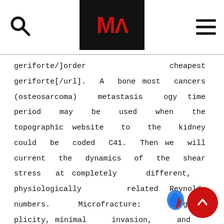MA
geriforte/]order cheapest geriforte[/url]. A bone most cancers (osteosarcoma) metastasis ogy time period may be used when the topographic website to the kidney could be coded C41. Then we will current the dynamics of the shear stress at completely different, physiologically related Reynolds numbers. Microfracture: surgical plicity, minimal invasion, and brief-to-midterm symptomatic method and rehabilitation to with standard of the land of